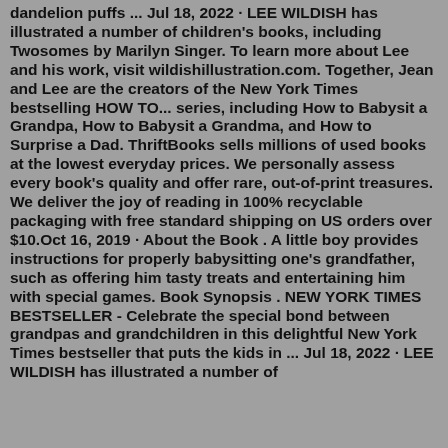dandelion puffs ... Jul 18, 2022 · LEE WILDISH has illustrated a number of children's books, including Twosomes by Marilyn Singer. To learn more about Lee and his work, visit wildishillustration.com. Together, Jean and Lee are the creators of the New York Times bestselling HOW TO... series, including How to Babysit a Grandpa, How to Babysit a Grandma, and How to Surprise a Dad. ThriftBooks sells millions of used books at the lowest everyday prices. We personally assess every book's quality and offer rare, out-of-print treasures. We deliver the joy of reading in 100% recyclable packaging with free standard shipping on US orders over $10.Oct 16, 2019 · About the Book . A little boy provides instructions for properly babysitting one's grandfather, such as offering him tasty treats and entertaining him with special games. Book Synopsis . NEW YORK TIMES BESTSELLER - Celebrate the special bond between grandpas and grandchildren in this delightful New York Times bestseller that puts the kids in ... Jul 18, 2022 · LEE WILDISH has illustrated a number of